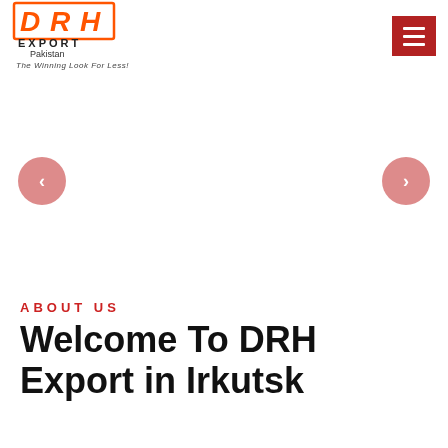[Figure (logo): DRH Export Pakistan logo with orange/red block letters, 'EXPORT' in black, 'Pakistan' subtitle, tagline 'The Winning Look For Less!']
[Figure (infographic): Website carousel slider area with left and right navigation arrows (pink/salmon circular buttons with chevrons), white background]
ABOUT US
Welcome To DRH Export in Irkutsk